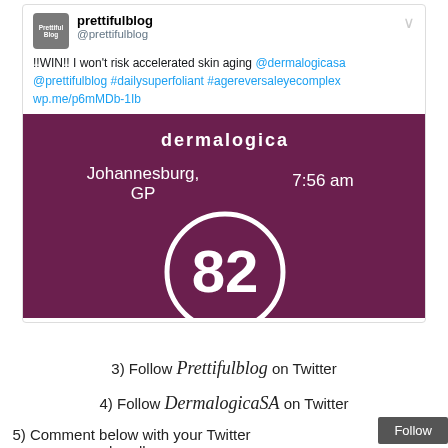[Figure (screenshot): Tweet from @prettifulblog showing dermalogica app screenshot with Johannesburg GP location, 7:56 am, and UV index 82]
3) Follow Prettifulblog on Twitter
4) Follow DermalogicaSA on Twitter
5) Comment below with your Twitter handle